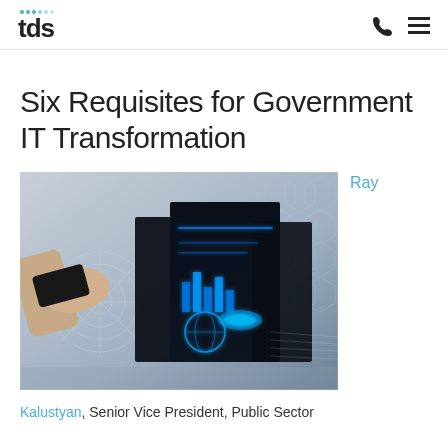tds
Six Requisites for Government IT Transformation
[Figure (photo): Technology image showing a hand touching a black tablet/card with glowing digital data visualization displays in the background, representing IT transformation and digital technology.]
Ray Kalustyan, Senior Vice President, Public Sector